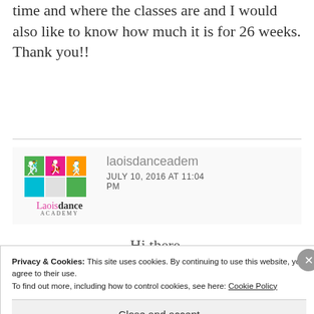time and where the classes are and I would also like to know how much it is for 26 weeks. Thank you!!
[Figure (logo): Laois Dance Academy logo with colorful dancing figures and text]
laoisdanceacademy
JULY 10, 2016 AT 11:04 PM
Hi there.
Privacy & Cookies: This site uses cookies. By continuing to use this website, you agree to their use. To find out more, including how to control cookies, see here: Cookie Policy
Close and accept